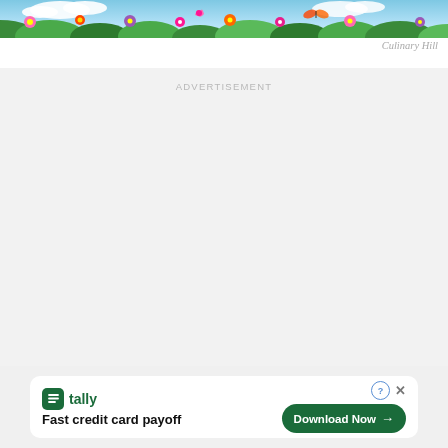[Figure (illustration): Colorful cartoon illustration with flamingos, flowers, butterflies and tropical plants against a blue sky background — partial top crop]
Culinary Hill
ADVERTISEMENT
[Figure (screenshot): Tally app advertisement banner: green Tally logo icon, 'tally' brand name in green, tagline 'Fast credit card payoff', and a dark green 'Download Now →' button with help (?) and close (x) controls]